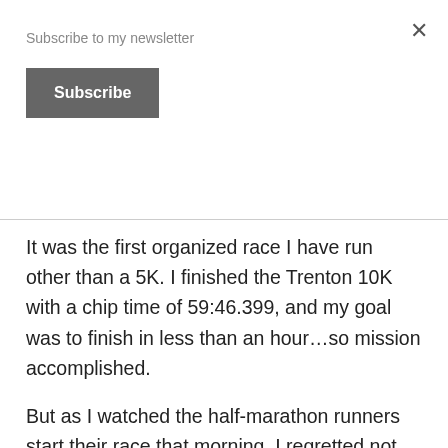Subscribe to my newsletter
Subscribe
It was the first organized race I have run other than a 5K. I finished the Trenton 10K with a chip time of 59:46.399, and my goal was to finish in less than an hour…so mission accomplished.
But as I watched the half-marathon runners start their race that morning, I regretted not being more ambitious with my running goals. After finally shaking off a persistent head cold I came down